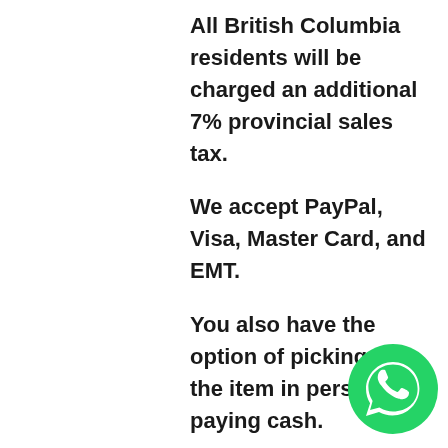All British Columbia residents will be charged an additional 7% provincial sales tax.
We accept PayPal, Visa, Master Card, and EMT.
You also have the option of picking up the item in person and paying cash.
Payment must be received withi days of the end of auction unle
[Figure (logo): WhatsApp green circle logo with white phone handset icon]